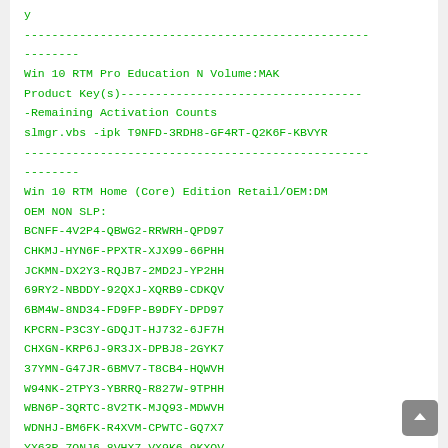y
--------------------------------------------------
--------
Win 10 RTM Pro Education N Volume:MAK
Product Key(s)-----------------------------------
-Remaining Activation Counts
slmgr.vbs -ipk T9NFD-3RDH8-GF4RT-Q2K6F-KBVYR
--------------------------------------------------
--------
Win 10 RTM Home (Core) Edition Retail/OEM:DM
OEM NON SLP:
BCNFF-4V2P4-QBWG2-RRWRH-QPD97
CHKMJ-HYN6F-PPXTR-XJX99-66PHH
JCKMN-DX2Y3-RQJB7-2MD2J-YP2HH
69RY2-NBDDY-92QXJ-XQRB9-CDKQV
6BM4W-8ND34-FD9FP-B9DFY-DPD97
KPCRN-P3C3Y-GDQJT-HJ732-6JF7H
CHXGN-KRP6J-9R3JX-DPBJ8-2GYK7
37YMN-G47JR-6BMV7-T8CB4-HQWVH
W94NK-2TPY3-YBRRQ-R827W-9TPHH
WBN6P-3QRTC-8V2TK-MJQ93-MDWVH
WDNHJ-BM6FK-R4XVM-CPWTC-GQ7X7
YX63P-7QNJ6-8VHX7-VX9K6-9KXQV